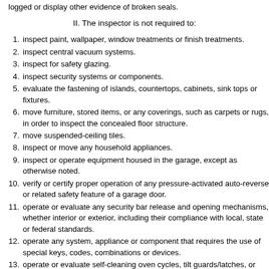logged or display other evidence of broken seals.
II. The inspector is not required to:
inspect paint, wallpaper, window treatments or finish treatments.
inspect central vacuum systems.
inspect for safety glazing.
inspect security systems or components.
evaluate the fastening of islands, countertops, cabinets, sink tops or fixtures.
move furniture, stored items, or any coverings, such as carpets or rugs, in order to inspect the concealed floor structure.
move suspended-ceiling tiles.
inspect or move any household appliances.
inspect or operate equipment housed in the garage, except as otherwise noted.
verify or certify proper operation of any pressure-activated auto-reverse or related safety feature of a garage door.
operate or evaluate any security bar release and opening mechanisms, whether interior or exterior, including their compliance with local, state or federal standards.
operate any system, appliance or component that requires the use of special keys, codes, combinations or devices.
operate or evaluate self-cleaning oven cycles, tilt guards/latches, or signal lights.
inspect microwave ovens or test leakage from microwave ovens.
operate or examine any sauna, steam-generating equipment